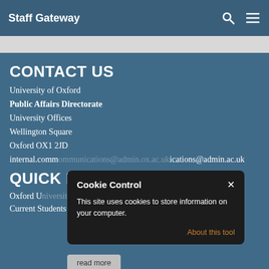Staff Gateway
CONTACT US
University of Oxford
Public Affairs Directorate
University Offices
Wellington Square
Oxford OX1 2JD
internal.communications@admin.ox.ac.uk
QUICK LINKS
Oxford University
Current Students
[Figure (screenshot): Cookie Control popup overlay with title 'Cookie Control', close button X, body text 'This site uses cookies to store information on your computer.', link 'About this tool', and a 'read more' button below.]